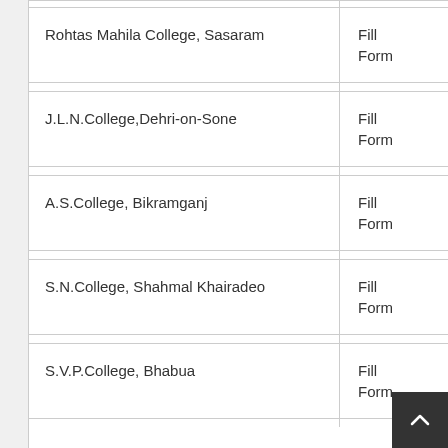| College Name | Action |
| --- | --- |
| Rohtas Mahila College, Sasaram | Fill Form |
| J.L.N.College,Dehri-on-Sone | Fill Form |
| A.S.College, Bikramganj | Fill Form |
| S.N.College, Shahmal Khairadeo | Fill Form |
| S.V.P.College, Bhabua | Fill Form |